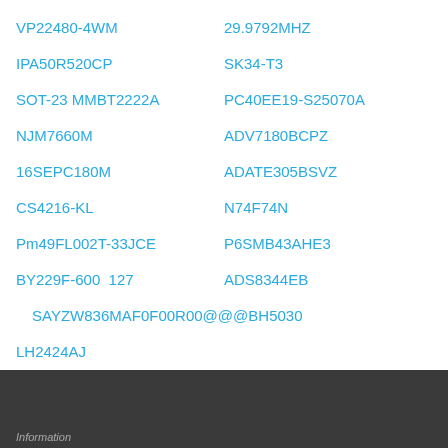VP22480-4WM
29.9792MHZ
IPA50R520CP
SK34-T3
SOT-23 MMBT2222A
PC40EE19-S25070A
NJM7660M
ADV7180BCPZ
16SEPC180M
ADATE305BSVZ
CS4216-KL
N74F74N
Pm49FL002T-33JCE
P6SMB43AHE3
BY229F-600  127
ADS8344EB
SAYZW836MAF0F00R00@@@BH5030
LH2424AJ
Information